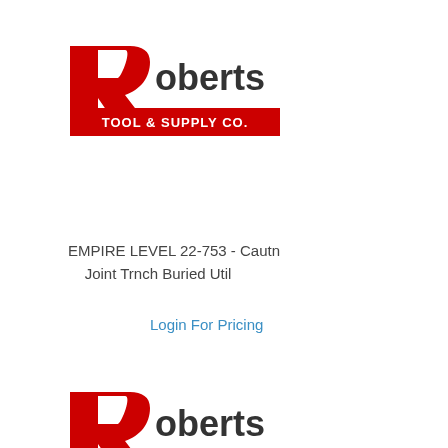[Figure (logo): Roberts Tool & Supply Co. logo — large red stylized R with 'oberts' text and 'TOOL & SUPPLY CO.' on red banner below]
EMPIRE LEVEL 22-753 - Cautn
    Joint Trnch Buried Util
Login For Pricing
[Figure (logo): Roberts Tool & Supply Co. logo — large red stylized R with 'oberts' text and 'TOOL & SUPPLY CO.' on red banner below (partial, bottom of page)]